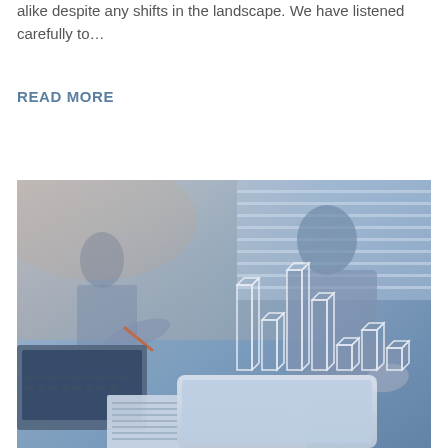alike despite any shifts in the landscape. We have listened carefully to…
READ MORE
[Figure (photo): Business professional writing notes beside a laptop, with a holographic 3D bar chart floating above a tablet in the foreground. Blue-toned financial/business photo.]